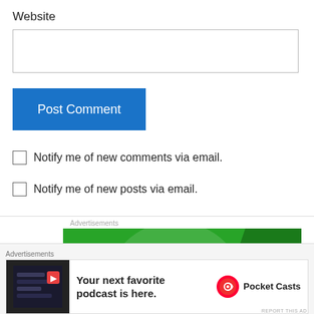Website
Post Comment
Notify me of new comments via email.
Notify me of new posts via email.
Advertisements
[Figure (illustration): Jetpack advertisement banner with green background, Jetpack logo with lightning bolt icon and brand name]
[Figure (illustration): Pocket Casts advertisement: 'Your next favorite podcast is here.' with Pocket Casts logo]
Advertisements